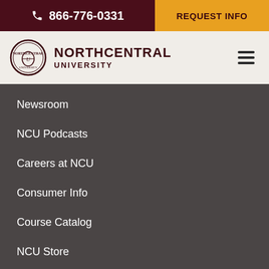866-776-0331 | REQUEST INFO
[Figure (logo): Northcentral University logo with circular seal and text NORTHCENTRAL UNIVERSITY]
Newsroom
NCU Podcasts
Careers at NCU
Consumer Info
Course Catalog
NCU Store
Transcript Request
Privacy | DNC Policy | Accessibility | Contact | Do Not Sell My Personal Information
© 2021 Northcentral University